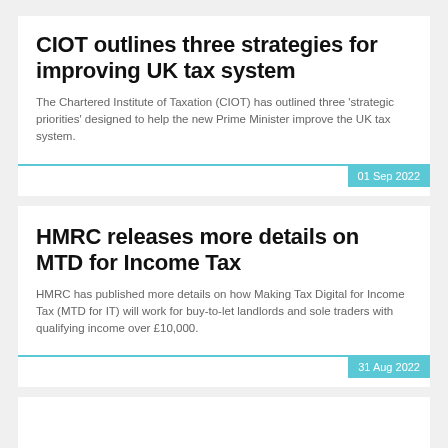CIOT outlines three strategies for improving UK tax system
The Chartered Institute of Taxation (CIOT) has outlined three 'strategic priorities' designed to help the new Prime Minister improve the UK tax system.
01 Sep 2022
HMRC releases more details on MTD for Income Tax
HMRC has published more details on how Making Tax Digital for Income Tax (MTD for IT) will work for buy-to-let landlords and sole traders with qualifying income over £10,000.
31 Aug 2022